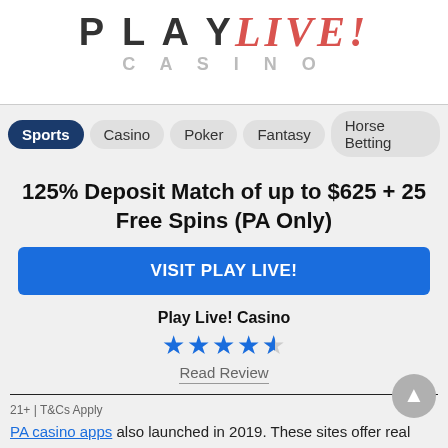[Figure (logo): Play Live! Casino logo with spade icon, 'PLAY' in dark letters and 'Live!' in red italic script]
[Figure (screenshot): Navigation bar with tabs: Sports (active, dark blue), Casino, Poker, Fantasy, Horse Betting]
125% Deposit Match of up to $625 + 25 Free Spins (PA Only)
VISIT PLAY LIVE!
Play Live! Casino
[Figure (other): 4.5 star rating in blue stars]
Read Review
21+ | T&Cs Apply
PA casino apps also launched in 2019. These sites offer real money casino games, including Blackjack, Roulette, Slots, Video Poker, and more.
There are many land-based casinos situated around the